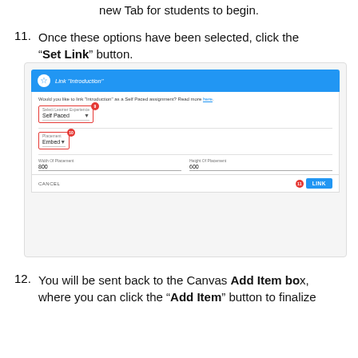new Tab for students to begin.
11. Once these options have been selected, click the "Set Link" button.
[Figure (screenshot): Screenshot of 'Link Introduction' dialog showing fields: Select Learner Experience = Self Paced (labeled 9), Placement = Embed (labeled 10), Width of Placement = 800, Height of Placement = 600, with CANCEL and LINK buttons (labeled 11).]
12. You will be sent back to the Canvas Add Item box, where you can click the "Add Item" button to finalize